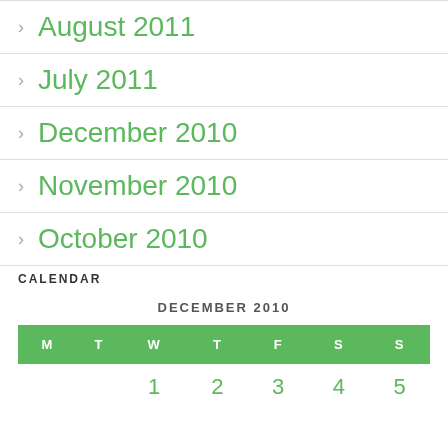August 2011
July 2011
December 2010
November 2010
October 2010
CALENDAR
| M | T | W | T | F | S | S |
| --- | --- | --- | --- | --- | --- | --- |
|  |  | 1 | 2 | 3 | 4 | 5 |